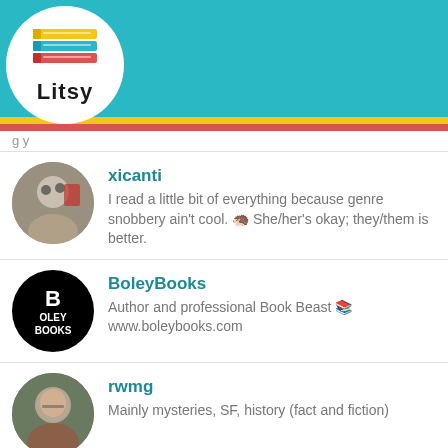[Figure (screenshot): Litsy app logo with stacked colorful books and 'Litsy' text]
[Figure (screenshot): Litsy app navigation bar with home, search, add, activity, and profile icons on teal background]
xicanti
I read a little bit of everything because genre snobbery ain't cool. She/her's okay; they/them is better.
BoleyBooks
Author and professional Book Beast www.boleybooks.com
rwmg
Mainly mysteries, SF, history (fact and fiction)
5feet.of.fury
Christyco125